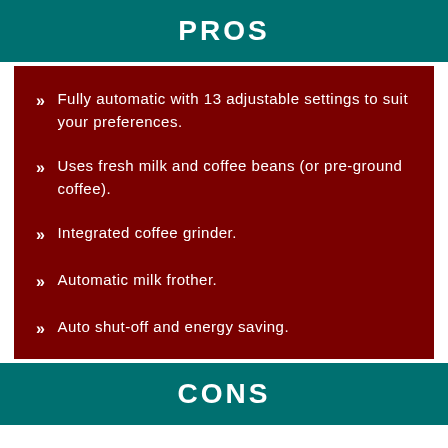PROS
Fully automatic with 13 adjustable settings to suit your preferences.
Uses fresh milk and coffee beans (or pre-ground coffee).
Integrated coffee grinder.
Automatic milk frother.
Auto shut-off and energy saving.
CONS